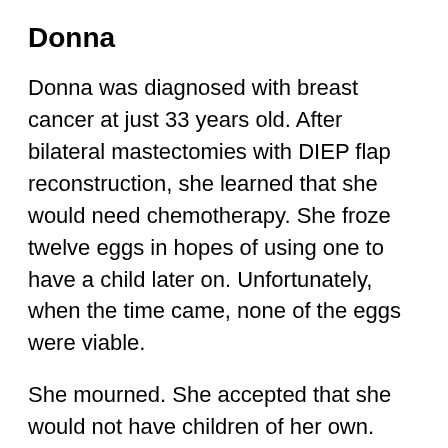Donna
Donna was diagnosed with breast cancer at just 33 years old. After bilateral mastectomies with DIEP flap reconstruction, she learned that she would need chemotherapy. She froze twelve eggs in hopes of using one to have a child later on. Unfortunately, when the time came, none of the eggs were viable.
She mourned. She accepted that she would not have children of her own. Nearly ten years after her surgery, something